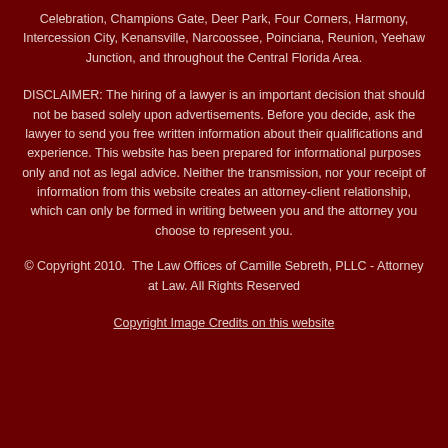Celebration, Champions Gate, Deer Park, Four Corners, Harmony, Intercession City, Kenansville, Narcoossee, Poinciana, Reunion, Yeehaw Junction, and throughout the Central Florida Area.
DISCLAIMER: The hiring of a lawyer is an important decision that should not be based solely upon advertisements. Before you decide, ask the lawyer to send you free written information about their qualifications and experience. This website has been prepared for informational purposes only and not as legal advice. Neither the transmission, nor your receipt of information from this website creates an attorney-client relationship, which can only be formed in writing between you and the attorney you choose to represent you.
© Copyright 2010.  The Law Offices of Camille Sebreth, PLLC - Attorney at Law. All Rights Reserved
Copyright Image Credits on this website